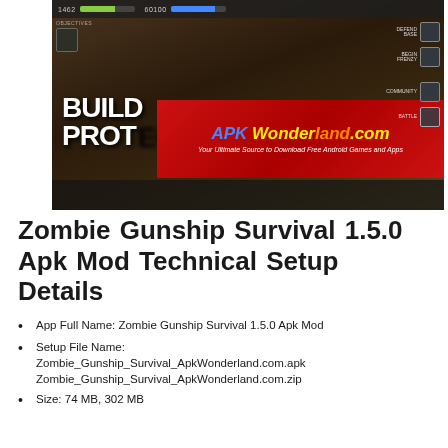[Figure (screenshot): Game screenshot from Zombie Gunship Survival showing top-down view of a base with game UI elements including objectives, defend base, begin frenzy, community, and battle buttons on the right side. An APKWonderland.com watermark banner overlays the bottom portion with text 'Your Ultimate Source to Download Free Android Games and Apps'. Left side shows partial text 'BUILD YOUR BASE' and 'PROTECT'.]
Zombie Gunship Survival 1.5.0 Apk Mod Technical Setup Details
App Full Name: Zombie Gunship Survival 1.5.0 Apk Mod
Setup File Name:
Zombie_Gunship_Survival_ApkWonderland.com.apk
Zombie_Gunship_Survival_ApkWonderland.com.zip
Size: 74 MB, 302 MB